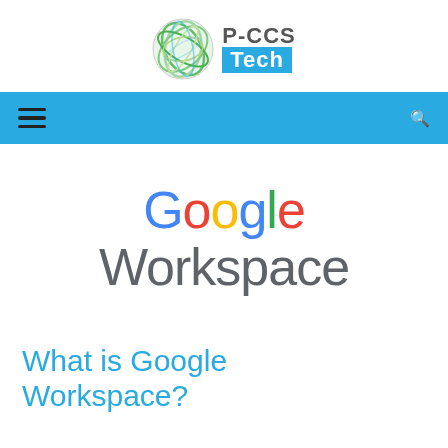[Figure (logo): P-CCS Tech logo with globe graphic and 'P-CCS Tech' text]
Navigation bar with hamburger menu and search icon
[Figure (logo): Google Workspace logo text in Google brand colors]
What is Google Workspace?